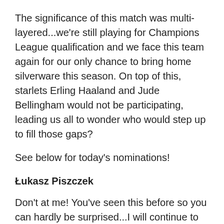The significance of this match was multi-layered...we're still playing for Champions League qualification and we face this team again for our only chance to bring home silverware this season. On top of this, starlets Erling Haaland and Jude Bellingham would not be participating, leading us all to wonder who would step up to fill those gaps?
See below for today's nominations!
Łukasz Piszczek
Don't at me! You've seen this before so you can hardly be surprised...I will continue to honor him with a nomination as opportunities to do so diminish. It helps that he delivered a typical Piszczu performance.